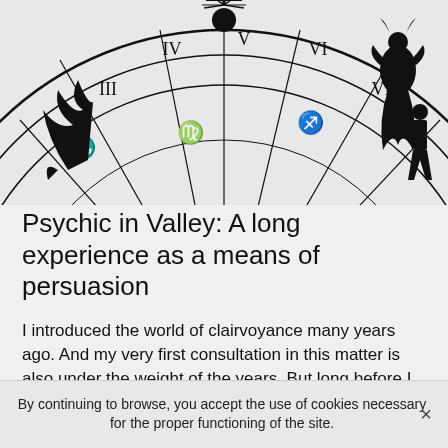[Figure (illustration): Black and white partial view of an astrological/zodiac wheel chart showing zodiac symbols, Roman numerals, and constellation figures including what appears to be Capricorn or similar zodiac figures on the right side.]
Psychic in Valley: A long experience as a means of persuasion
I introduced the world of clairvoyance many years ago. And my very first consultation in this matter is also under the weight of the years. But long before I was introduced to this profession, my special gift of clairvoyance was awakened within me. Indeed, my very first contact with my gift of clairvoyance probably goes back to when I was younger.
As far as my memory can carry me, I always had the
By continuing to browse, you accept the use of cookies necessary for the proper functioning of the site.